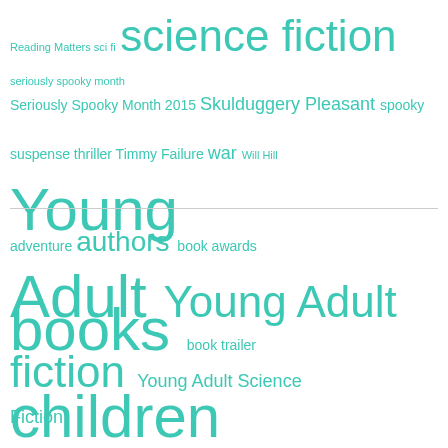[Figure (infographic): Tag cloud showing book/reading related tags in teal color. Top section includes: Reading Matters sci fi, science fiction, seriously spooky month, Seriously Spooky Month 2015, Skulduggery Pleasant, spooky, suspense, thriller, Timmy Failure, war, Will Hill, Young Adult, Young Adult fiction, Young Adult Science Fiction. Bottom section includes: adventure, authors, book awards, books, book trailer, children, children's fiction, children's nonfiction, competition, fantasy, funny, history, horror, humour, humourous, Illustrators, Interview, mystery]